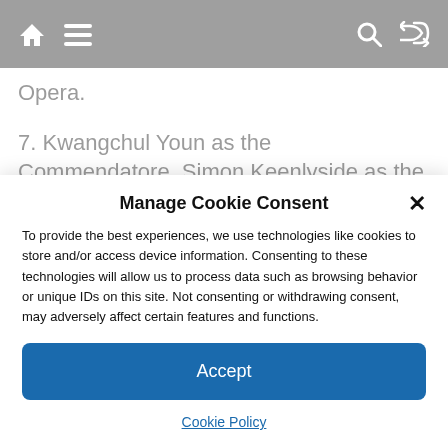Navigation bar with home, menu, search, and shuffle icons
Opera.
7. Kwangchul Youn as the Commendatore, Simon Keenlyside as the Don and Adam Plachetka as Leporello in Mozart's “Don Giovanni” at the Met, 2016. Photo Credit: Marty Sohl / Metropolitan
Manage Cookie Consent
To provide the best experiences, we use technologies like cookies to store and/or access device information. Consenting to these technologies will allow us to process data such as browsing behavior or unique IDs on this site. Not consenting or withdrawing consent, may adversely affect certain features and functions.
Accept
Cookie Policy